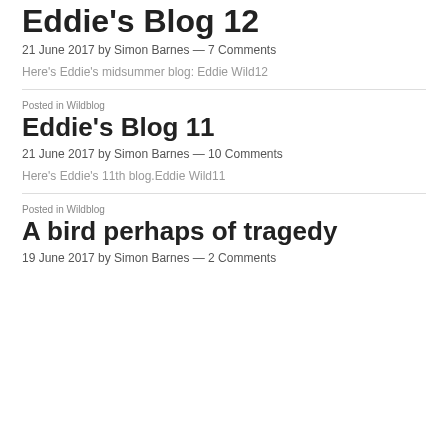Eddie's Blog 12
21 June 2017 by Simon Barnes — 7 Comments
Here's Eddie's midsummer blog: Eddie Wild12
Posted in Wildblog
Eddie's Blog 11
21 June 2017 by Simon Barnes — 10 Comments
Here's Eddie's 11th blog.Eddie Wild11
Posted in Wildblog
A bird perhaps of tragedy
19 June 2017 by Simon Barnes — 2 Comments